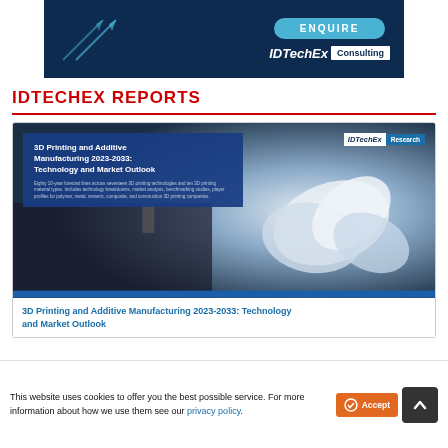[Figure (logo): IDTechEx Consulting banner ad with ENQUIRE button and dark navy background with arrow graphics]
IDTECHEX REPORTS
[Figure (screenshot): Report cover image for '3D Printing and Additive Manufacturing 2023-2033: Technology and Market Outlook' with IDTechEx Research badge, showing a 3D printer producing white flower-like structures]
3D Printing and Additive Manufacturing 2023-2033: Technology and Market Outlook
This website uses cookies to offer you the best possible service. For more information about how we use them see our privacy policy.